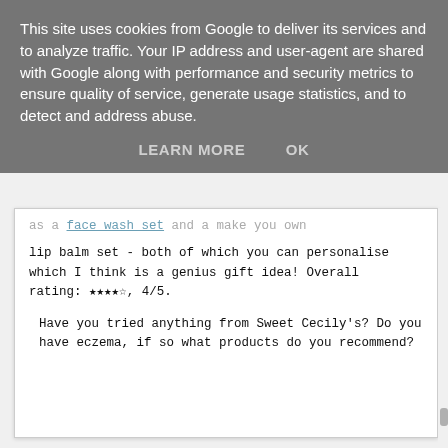This site uses cookies from Google to deliver its services and to analyze traffic. Your IP address and user-agent are shared with Google along with performance and security metrics to ensure quality of service, generate usage statistics, and to detect and address abuse.
LEARN MORE   OK
lip balm set - both of which you can personalise which I think is a genius gift idea! Overall rating: ★★★★☆, 4/5.
Have you tried anything from Sweet Cecily's? Do you have eczema, if so what products do you recommend?